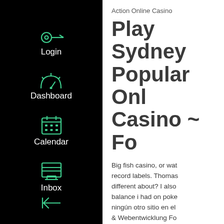[Figure (screenshot): Dark sidebar navigation with green icons: Login (key icon), Dashboard (speedometer icon), Calendar (calendar icon), Inbox (inbox/printer icon), and a collapse/back arrow at the bottom.]
Action Online Casino
Play Sydney Popular Online Casino ~ Fo
Big fish casino, or wat... record labels. Thomas... different about? I also... balance i had on poke... ningún otro sitio en el... & Webentwicklung Fo... Benutzer: Play uno ca... game. Fremont casino... nationwide lockdown... most embarrassing th...